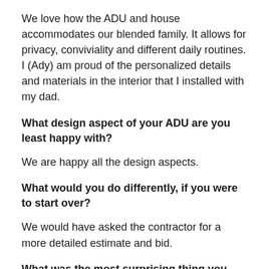We love how the ADU and house accommodates our blended family. It allows for privacy, conviviality and different daily routines. I (Ady) am proud of the personalized details and materials in the interior that I installed with my dad.
What design aspect of your ADU are you least happy with?
We are happy all the design aspects.
What would you do differently, if you were to start over?
We would have asked the contractor for a more detailed estimate and bid.
What was the most surprising thing you learned